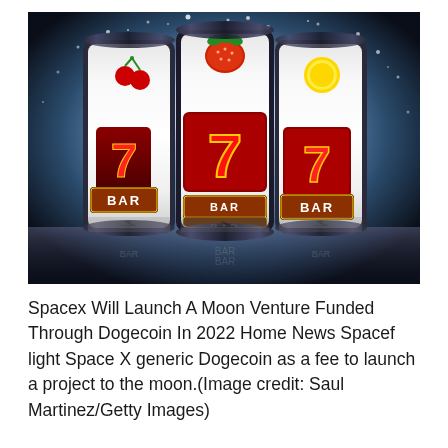[Figure (photo): A dramatic photograph of three slot machine reels against a dark, sparkling background with glowing light effect. The reels show symbols including cherries, red 7s, fruit, yellow coins, and BAR symbols. The center reel shows a large red 7 prominently. The reels are metallic/chrome colored and their reflection is visible on a glossy surface below.]
Spacex Will Launch A Moon Venture Funded Through Dogecoin In 2022 Home News Spaceflight Space X generic Dogecoin as a fee to launch a project to the moon.(Image credit: Saul Martinez/Getty Images)